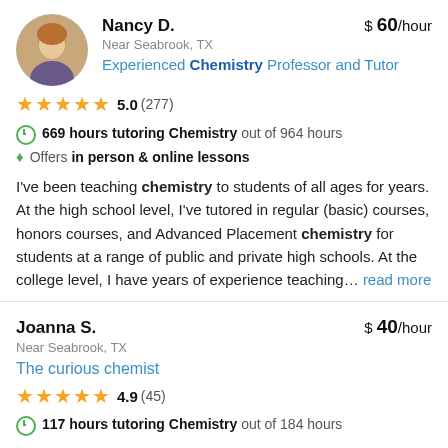[Figure (photo): Circular avatar photo of Nancy D., a woman with blonde/brown hair]
Nancy D. $ 60/hour
Near Seabrook, TX
Experienced Chemistry Professor and Tutor
5.0 (277)
669 hours tutoring Chemistry out of 964 hours
Offers in person & online lessons
I've been teaching chemistry to students of all ages for years. At the high school level, I've tutored in regular (basic) courses, honors courses, and Advanced Placement chemistry for students at a range of public and private high schools. At the college level, I have years of experience teaching... read more
Joanna S. $ 40/hour
Near Seabrook, TX
The curious chemist
4.9 (45)
117 hours tutoring Chemistry out of 184 hours